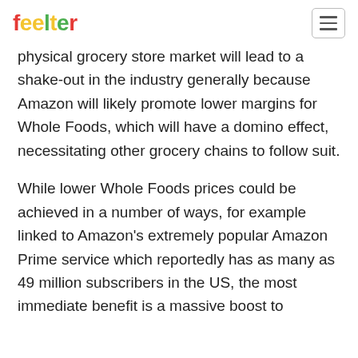feelter
physical grocery store market will lead to a shake-out in the industry generally because Amazon will likely promote lower margins for Whole Foods, which will have a domino effect, necessitating other grocery chains to follow suit.
While lower Whole Foods prices could be achieved in a number of ways, for example linked to Amazon's extremely popular Amazon Prime service which reportedly has as many as 49 million subscribers in the US, the most immediate benefit is a massive boost to